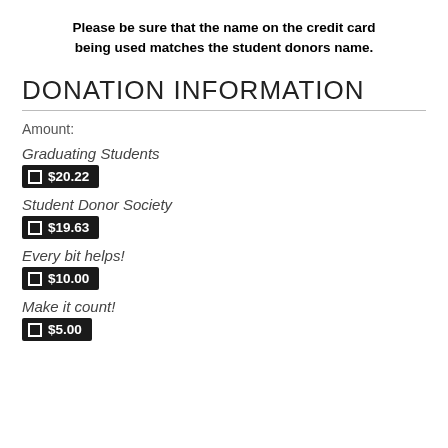Please be sure that the name on the credit card being used matches the student donors name.
DONATION INFORMATION
Amount:
Graduating Students
$20.22
Student Donor Society
$19.63
Every bit helps!
$10.00
Make it count!
$5.00